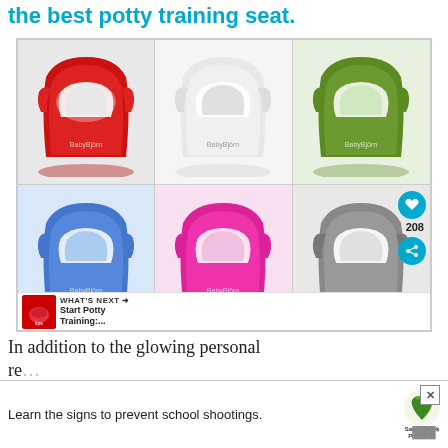the best potty training seat.
[Figure (photo): Six BabyBjörn potty training chairs in different colors: red, white, green (top row), blue, pink, gray/white (bottom row). Social sharing overlay with heart icon, 208 count, and share button visible on the gray potty. A 'WHAT'S NEXT' bar at the bottom shows 'Start Potty Training:...']
In addition to the glowing personal re...
[Figure (screenshot): Advertisement banner: 'Learn the signs to prevent school shootings.' with Sandy Hook Promise logo and tree graphic. An X close button is visible.]